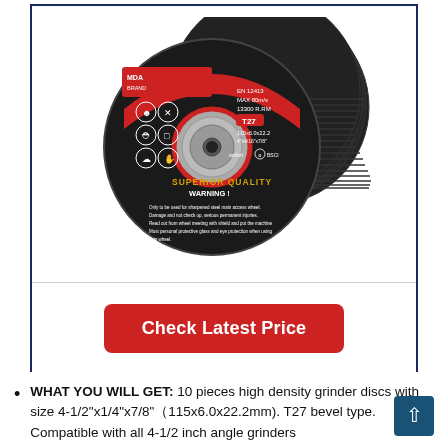[Figure (photo): Stack of black grinding/abrasive discs with red and silver branding labels. Front disc shows brand logo, EN 12413, MAX 80m/s, 13300 RPM, T27, dimensions 115x6.0x22.2, amfori BSCI certification, 'SUPERIOR QUALITY WARNING!' text, safety icons. Discs stacked showing textured black surface.]
Check Latest Price
WHAT YOU WILL GET: 10 pieces high density grinder discs with size 4-1/2"x1/4"x7/8"（115x6.0x22.2mm). T27 bevel type. Compatible with all 4-1/2 inch angle grinders